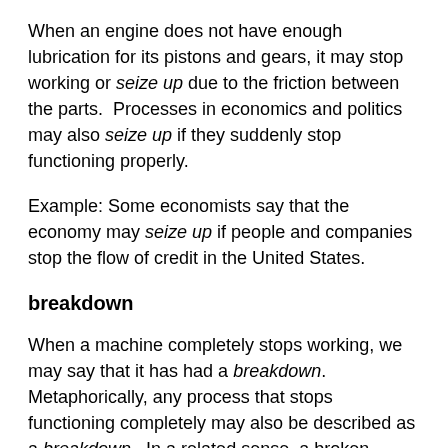When an engine does not have enough lubrication for its pistons and gears, it may stop working or seize up due to the friction between the parts.  Processes in economics and politics may also seize up if they suddenly stop functioning properly.
Example: Some economists say that the economy may seize up if people and companies stop the flow of credit in the United States.
breakdown
When a machine completely stops working, we may say that it has had a breakdown.  Metaphorically, any process that stops functioning completely may also be described as a breakdown.  In a related sense, a broken engine must be taken apart to see what is wrong.  This is also called breaking down the engine into its parts.